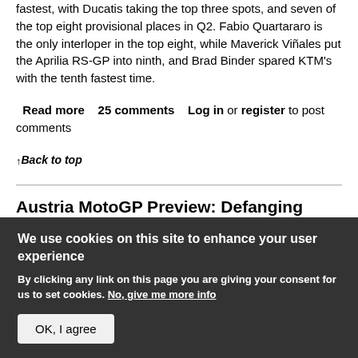fastest, with Ducatis taking the top three spots, and seven of the top eight provisional places in Q2. Fabio Quartararo is the only interloper in the top eight, while Maverick Viñales put the Aprilia RS-GP into ninth, and Brad Binder spared KTM's with the tenth fastest time.
Read more  25 comments  Log in or register to post comments
↑Back to top
Austria MotoGP Preview: Defanging
We use cookies on this site to enhance your user experience
By clicking any link on this page you are giving your consent for us to set cookies. No, give me more info
OK, I agree